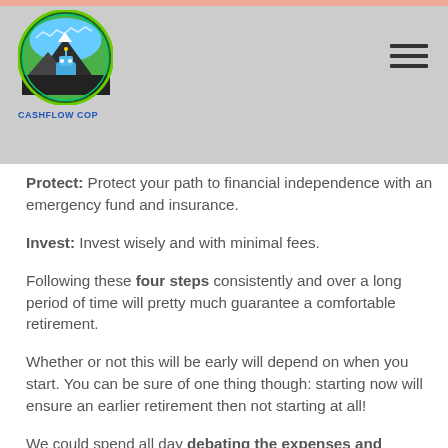Cashflow Cop — site header with logo and navigation menu
Protect: Protect your path to financial independence with an emergency fund and insurance.
Invest: Invest wisely and with minimal fees.
Following these four steps consistently and over a long period of time will pretty much guarantee a comfortable retirement.
Whether or not this will be early will depend on when you start. You can be sure of one thing though: starting now will ensure an earlier retirement then not starting at all!
We could spend all day debating the expenses and assumptions used for Amy and Adam. They are not